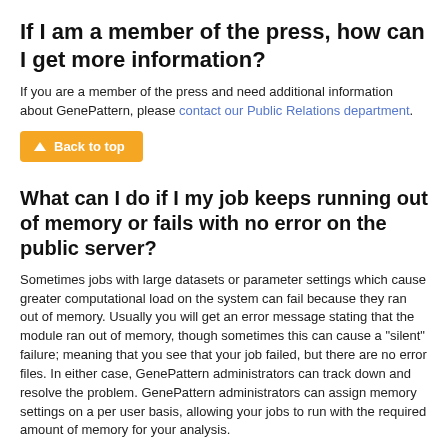If I am a member of the press, how can I get more information?
If you are a member of the press and need additional information about GenePattern, please contact our Public Relations department.
Back to top
What can I do if I my job keeps running out of memory or fails with no error on the public server?
Sometimes jobs with large datasets or parameter settings which cause greater computational load on the system can fail because they ran out of memory. Usually you will get an error message stating that the module ran out of memory, though sometimes this can cause a "silent" failure; meaning that you see that your job failed, but there are no error files. In either case, GenePattern administrators can track down and resolve the problem. GenePattern administrators can assign memory settings on a per user basis, allowing your jobs to run with the required amount of memory for your analysis.
To have an administrator look into your errors and adjust the memory settings for your analysis...